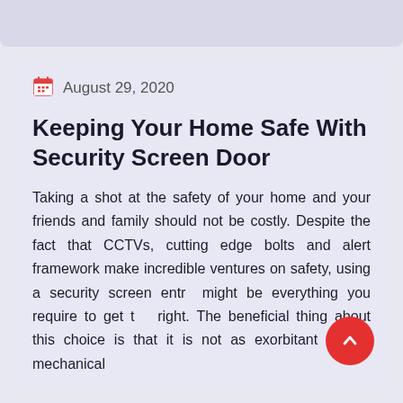August 29, 2020
Keeping Your Home Safe With Security Screen Door
Taking a shot at the safety of your home and your friends and family should not be costly. Despite the fact that CCTVs, cutting edge bolts and alert framework make incredible ventures on safety, using a security screen entry might be everything you require to get the right. The beneficial thing about this choice is that it is not as exorbitant as the mechanical